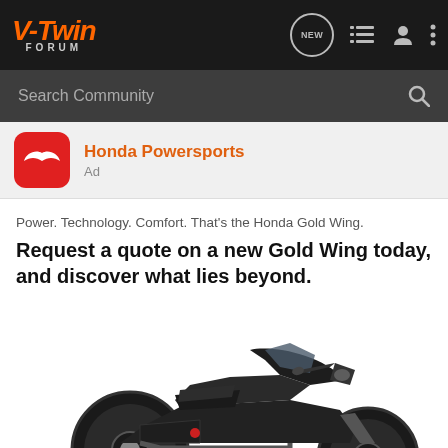V-Twin Forum
Search Community
Honda Powersports
Ad
Power. Technology. Comfort. That's the Honda Gold Wing.
Request a quote on a new Gold Wing today, and discover what lies beyond.
[Figure (photo): Honda Gold Wing motorcycle in dark matte finish, side profile view, with a banner at the bottom showing motorcycle gear photos, the text C5, and DISCOVER THE FLIP-UP FUTURE]